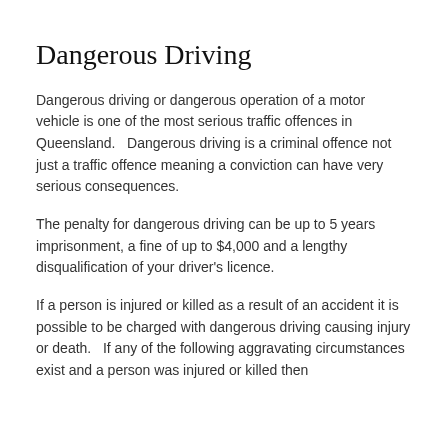Dangerous Driving
Dangerous driving or dangerous operation of a motor vehicle is one of the most serious traffic offences in Queensland.   Dangerous driving is a criminal offence not just a traffic offence meaning a conviction can have very serious consequences.
The penalty for dangerous driving can be up to 5 years imprisonment, a fine of up to $4,000 and a lengthy disqualification of your driver's licence.
If a person is injured or killed as a result of an accident it is possible to be charged with dangerous driving causing injury or death.   If any of the following aggravating circumstances exist and a person was injured or killed then